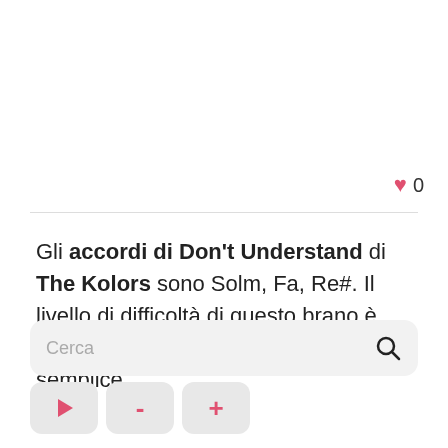[Figure (other): Heart icon with like count: red heart icon followed by the number 0]
Gli accordi di Don't Understand di The Kolors sono Solm, Fa, Re#. Il livello di difficoltà di questo brano è stato calcolato in 1 su 5, quindi molto semplice.
[Figure (screenshot): Search bar with placeholder text 'Cerca', a search magnifier icon on the right, and below it playback controls: play button (red triangle), minus button (red), plus button (red)]